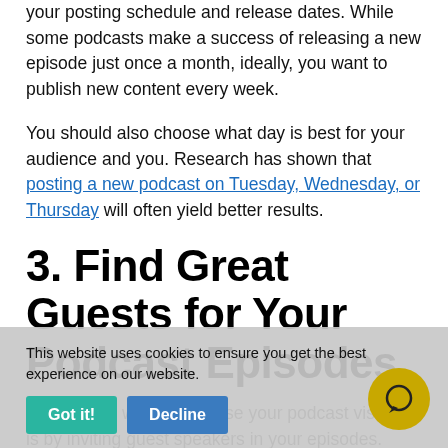your posting schedule and release dates. While some podcasts make a success of releasing a new episode just once a month, ideally, you want to publish new content every week.
You should also choose what day is best for your audience and you. Research has shown that posting a new podcast on Tuesday, Wednesday, or Thursday will often yield better results.
3. Find Great Guests for Your Podcast Episodes
An effective way to increase your podcast visibility is by inviting guest speakers in your episodes. Guests have numerous benefits for ...
This website uses cookies to ensure you get the best experience on our website.